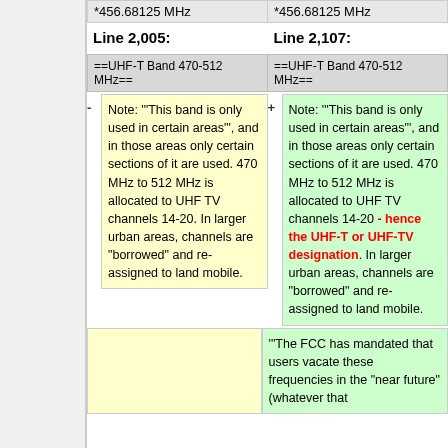*456.68125 MHz
*456.68125 MHz
Line 2,005:
Line 2,107:
==UHF-T Band 470-512 MHz==
==UHF-T Band 470-512 MHz==
Note:  '"This band is only used in certain areas"', and in those areas only certain sections of it are used. 470 MHz to 512 MHz is allocated to UHF TV channels 14-20.  In larger urban areas, channels are "borrowed" and re-assigned to land mobile.
Note:  '"This band is only used in certain areas"', and in those areas only certain sections of it are used. 470 MHz to 512 MHz is allocated to UHF TV channels 14-20 - hence the UHF-T or UHF-TV designation.  In larger urban areas, channels are "borrowed" and re-assigned to land mobile.
"""The FCC has mandated that users vacate these frequencies in the "near future" (whatever that